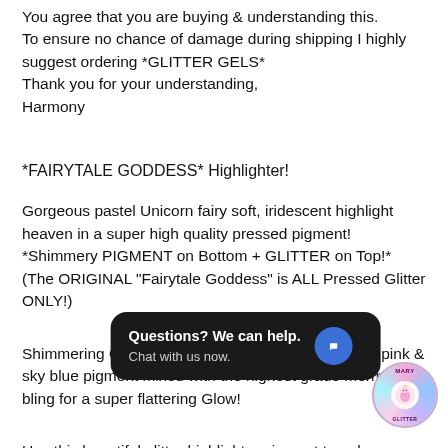You agree that you are buying & understanding this.
To ensure no chance of damage during shipping I highly suggest ordering *GLITTER GELS*
Thank you for your understanding,
Harmony
*FAIRYTALE GODDESS* Highlighter!
Gorgeous pastel Unicorn fairy soft, iridescent highlight heaven in a super high quality pressed pigment! *Shimmery PIGMENT on Bottom + GLITTER on Top!* (The ORIGINAL "Fairytale Goddess" is ALL Pressed Glitter ONLY!)
Shimmering Ombre white crystal, pastel bubblegum pink & sky blue pigment mixed with the highest grade mermaid bling for a super flattering Glow!
Use this beautiful glitter highlighter pigment to enhance areas such as cheekbones, eyes, nose, collarbones or wherever you want to BLING & [chat widget obscures text] gh sparkle highlight !
Vegan and Cruelty-free
[Figure (other): Chat widget overlay: dark rounded rectangle with text 'Questions? We can help. Chat with us now.' and a blue circular chat icon button]
[Figure (logo): Circular logo badge with colorful gradient and unicorn/fairy branding, 'MARY' text at top]